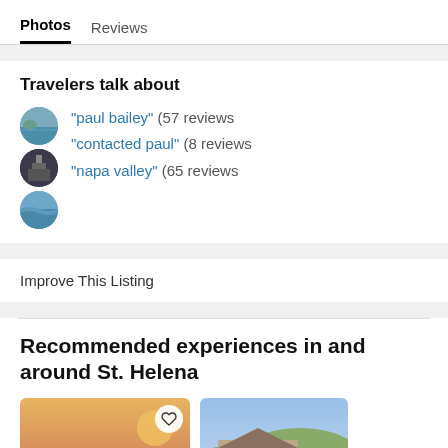Photos   Reviews
Travelers talk about
"paul bailey" (57 reviews
"contacted paul" (8 reviews
"napa valley" (65 reviews
Improve This Listing
Recommended experiences in and around St. Helena
[Figure (photo): Photo of people in a vineyard at sunset with a heart/save button overlay]
[Figure (photo): Photo of a winery building with hills in the background]